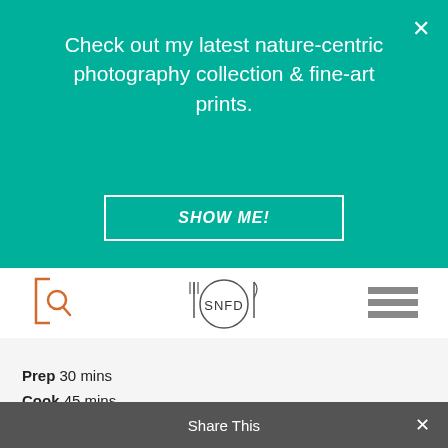Check out my latest nature-centric photography collection & fine-art prints.
SHOW ME!
[Figure (logo): SNFD logo with fork, plate, and knife]
Prep 30 mins
Cook 45 mins
Total 1 hour, 15 mins
Author Something New For Dinner
Yield 6 servings
Southwestern flavors live up turkey and grilled vegetables for dinner and. So it is a big hit.
Share This